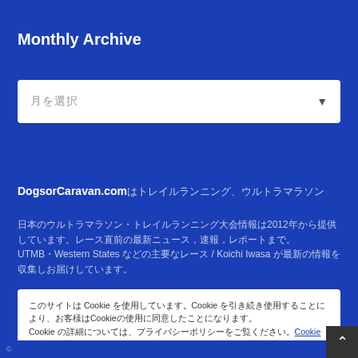Monthly Archive
月を選択
DogsorCaravan.comはトレイルランニング、ウルトラマラソン
日本のウルトラマラソン・トレイルランニング大会情報は2012年から提供しています。レース直前の最新ニュース，速報，レポートまで。 UTMB・Western Statesなど主要なレース / Koichi Iwasaが最新の情報を収集しお届けしています。
このサイトは Cookie を使用しています。Cookie を引き続き使用することにより、お客様はCookieの使用に同意したことになります。 Cookie の詳細については、プライバシーポリシーをご覧ください。 Cookie 設定
同意して閉じる